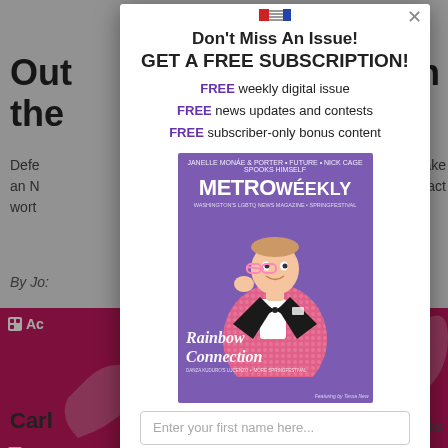[Figure (screenshot): Background page showing partial article heading 'Out... the...' and sidebar ads in pink/magenta for a healthcare brand]
Don't Miss An Issue!
GET A FREE SUBSCRIPTION!
FREE weekly digital issue
FREE news updates and contests
FREE subscriber-only bonus content
[Figure (photo): Metro Weekly magazine cover featuring a man in a pink sequined tuxedo jacket holding pink glasses, with 'Rainbow Connection' text overlay on purple background]
Enter your first name here...
Enter your email here...